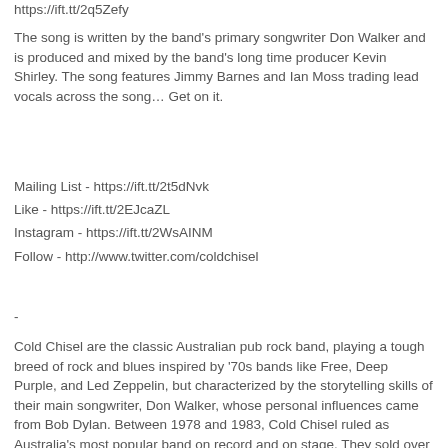https://ift.tt/2q5Zefy
The song is written by the band's primary songwriter Don Walker and is produced and mixed by the band's long time producer Kevin Shirley. The song features Jimmy Barnes and Ian Moss trading lead vocals across the song… Get on it.
Mailing List - https://ift.tt/2t5dNvk
Like - https://ift.tt/2EJcaZL
Instagram - https://ift.tt/2WsAINM
Follow - http://www.twitter.com/coldchisel
-
Cold Chisel are the classic Australian pub rock band, playing a tough breed of rock and blues inspired by '70s bands like Free, Deep Purple, and Led Zeppelin, but characterized by the storytelling skills of their main songwriter, Don Walker, whose personal influences came from Bob Dylan. Between 1978 and 1983, Cold Chisel ruled as Australia's most popular band on record and on stage. They sold over six million